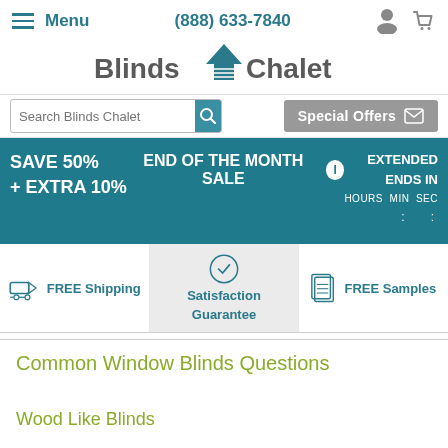Menu | (888) 633-7840
Blinds Chalet
Search Blinds Chalet | Special Offers
SAVE 50% + EXTRA 10% | END OF THE MONTH SALE | EXTENDED ENDS IN
FREE Shipping | Satisfaction Guarantee | FREE Samples
Common Window Blinds Questions
Wood Like Blinds
Q: I am looking for wood like blinds and wondered what you have to offer.